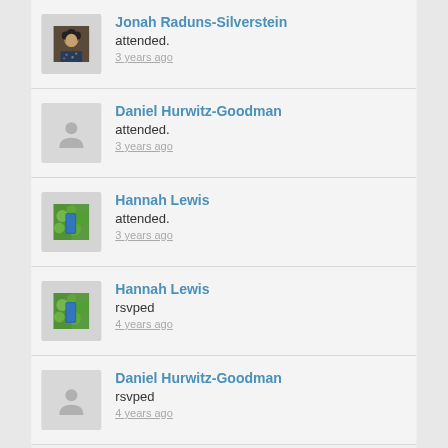Jonah Raduns-Silverstein attended. 3 years ago
Daniel Hurwitz-Goodman attended. 3 years ago
Hannah Lewis attended. 3 years ago
Hannah Lewis rsvped 4 years ago
Daniel Hurwitz-Goodman rsvped 4 years ago